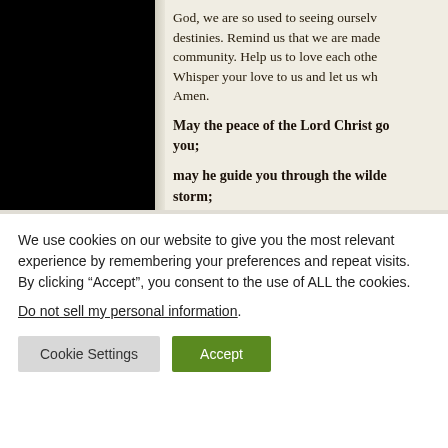God, we are so used to seeing ourselves [as individual masters of our own] destinies. Remind us that we are made [for] community. Help us to love each other. Whisper your love to us and let us wh[isper it back.] Amen.
May the peace of the Lord Christ go [with] you; may he guide you through the wilde[rness,] storm;
We use cookies on our website to give you the most relevant experience by remembering your preferences and repeat visits. By clicking “Accept”, you consent to the use of ALL the cookies.
Do not sell my personal information.